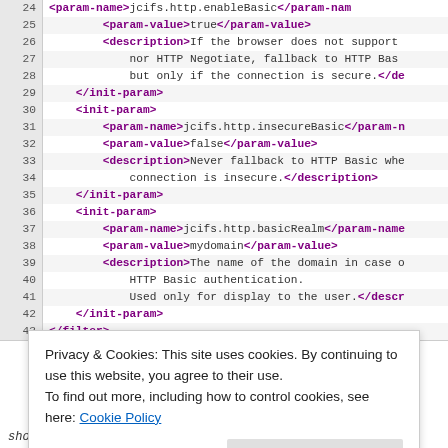[Figure (screenshot): Code editor screenshot showing XML configuration lines 24-43 with line numbers, purple bold XML tags and black text content, with alternating light background rows.]
Privacy & Cookies: This site uses cookies. By continuing to use this website, you agree to their use.
To find out more, including how to control cookies, see here: Cookie Policy
Close and accept
should because there are some prerequisites: